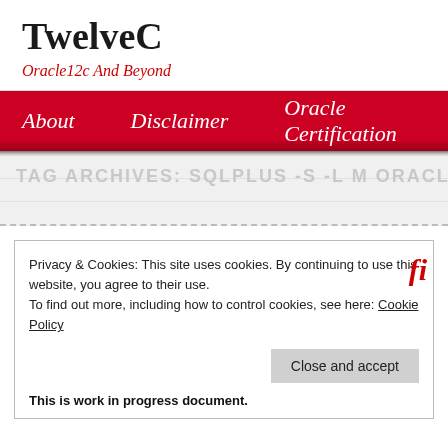TwelveC
Oracle12c And Beyond
About   Disclaimer   Oracle Certification
TAG ARCHIVES: SQLPLUS -S -L M ORACLE 12C UPGRADE
Privacy & Cookies: This site uses cookies. By continuing to use this website, you agree to their use.
To find out more, including how to control cookies, see here: Cookie Policy
Close and accept
This is work in progress document.